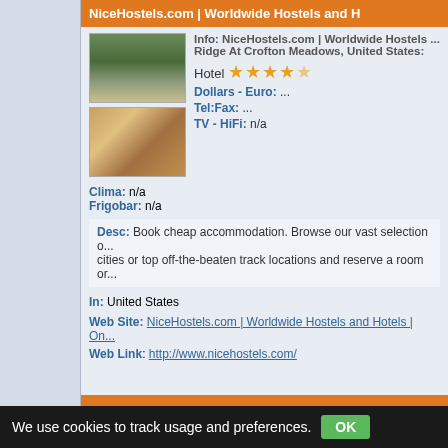NiceHostels.com | Worldwide Hostels and Hotels
[Figure (photo): Exterior photo of hotel building with trees]
[Figure (photo): Interior lobby photo with warm lighting]
Info: NiceHostels.com | Worldwide Hostels ... Ridge At Crofton Meadows, United States:
Hotel ★★★★½
Dollars - Euro: ...
Tel:Fax: ...
TV - HiFi: n/a
Clima: n/a
Frigobar: n/a
Desc: Book cheap accommodation. Browse our vast selection o... cities or top off-the-beaten track locations and reserve a room or...
In: United States
Web Site: NiceHostels.com | Worldwide Hostels and Hotels | On...
Web Link: http://www.nicehostels.com/
Abigail's Hotel
We use cookies to track usage and preferences.